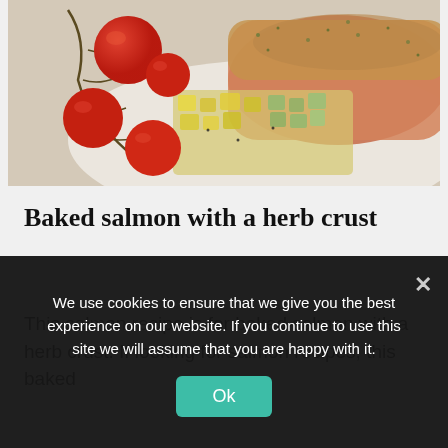[Figure (photo): Close-up photo of baked salmon with herb crust, served with roasted cherry tomatoes on the vine and diced mixed vegetables (zucchini, yellow pepper) on a white plate.]
Baked salmon with a herb crust
This salmon recipe is for baked salmon with a herb crust. If looking for salmon recipes, this baked
We use cookies to ensure that we give you the best experience on our website. If you continue to use this site we will assume that you are happy with it.